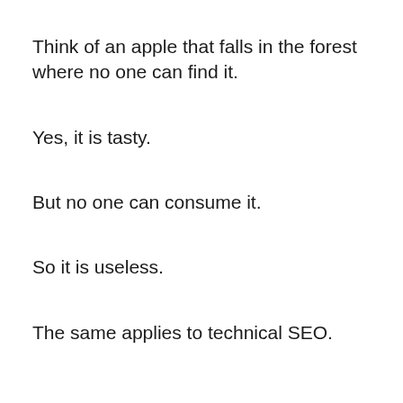Think of an apple that falls in the forest where no one can find it.
Yes, it is tasty.
But no one can consume it.
So it is useless.
The same applies to technical SEO.